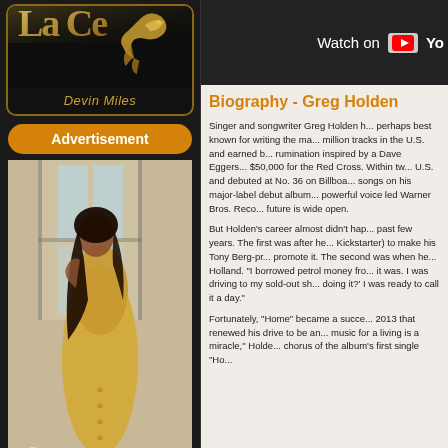[Figure (photo): Artist card with decorative golden border showing Devin Miles text with ornamental bird logo on dark background]
Devin Miles
Advertisement
[Figure (photo): Woman in golden/yellow dress posing near a window in an industrial or abandoned building setting]
[Figure (screenshot): YouTube video thumbnail showing Watch on YouTube button on dark background]
Biography - Greg Holden
Singer and songwriter Greg Holden h... perhaps best known for writing the ma... million tracks in the U.S. and earned b... rumination inspired by a Dave Eggers... $50,000 for the Red Cross. Within tw... U.S. and debuted at No. 36 on Billboa... songs on his major-label debut album... powerful voice led Warner Bros. Reco... future is wide open.
But Holden's career almost didn't hap... past few years. The first was after he... Kickstarter) to make his Tony Berg-pr... promote it. The second was when he... Holland. "I borrowed petrol money fro... it was. I was driving to my sold-out sh... doing it?' I was ready to call it a day."
Fortunately, "Home" became a succe... 2013 that renewed his drive to be an... music for a living is a miracle," Holde... chorus of the album's first single "Ho...